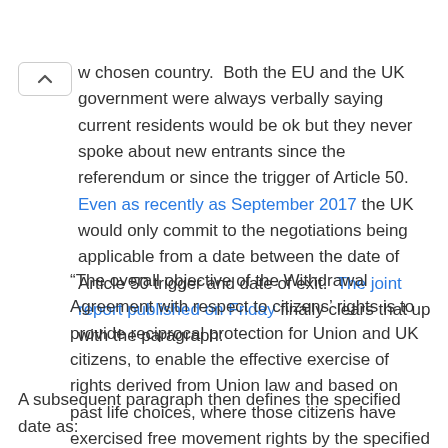w chosen country.  Both the EU and the UK government were always verbally saying current residents would be ok but they never spoke about new entrants since the referendum or since the trigger of Article 50.  Even as recently as September 2017 the UK would only commit to the negotiations being applicable from a date between the date of Article 50 trigger and date of exit.  The joint report published on Friday finally clears that up with the paragraph:
“The overall objective of the Withdrawal Agreement with respect to citizens’ rights is to provide reciprocal protection for Union and UK citizens, to enable the effective exercise of rights derived from Union law and based on past life choices, where those citizens have exercised free movement rights by the specified date.”
A subsequent paragraph then defines the specified date as: